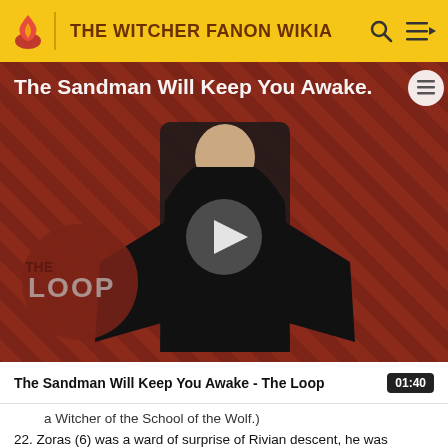THE WITCHER FANON WIKIA
[Figure (screenshot): Video thumbnail showing a dark-clad figure against a red diagonal striped background with 'THE LOOP' text overlay and a play button in the center. Title text reads 'The Sandman Will Keep You Awake.' at the top.]
The Sandman Will Keep You Awake - The Loop  01:40
a Witcher of the School of the Wolf.)
22. Zoras (6) was a ward of surprise of Rivian descent, he was unwillingly given up by his parents as payment